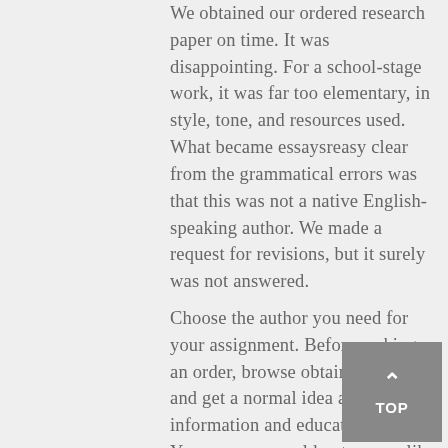We obtained our ordered research paper on time. It was disappointing. For a school-stage work, it was far too elementary, in style, tone, and resources used. What became essaysreasy clear from the grammatical errors was that this was not a native English-speaking author. We made a request for revisions, but it surely was not answered.
Choose the author you need for your assignment. Before making an order, browse obtainable writers and get a normal idea about their information and educational skills. Yes, an essay could not appear like a lot when in comparison with dissertations, analysis papers or theses, however this notion is usually illusory.